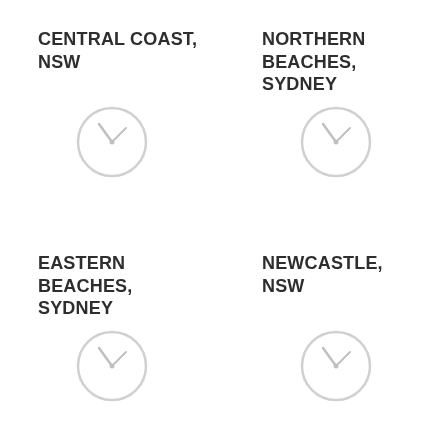CENTRAL COAST, NSW
[Figure (illustration): Clock icon placeholder (light gray circle with clock hands) for Central Coast, NSW]
NORTHERN BEACHES, SYDNEY
[Figure (illustration): Clock icon placeholder (light gray circle with clock hands) for Northern Beaches, Sydney]
EASTERN BEACHES, SYDNEY
[Figure (illustration): Clock icon placeholder (light gray circle with clock hands) for Eastern Beaches, Sydney]
NEWCASTLE, NSW
[Figure (illustration): Clock icon placeholder (light gray circle with clock hands) for Newcastle, NSW]